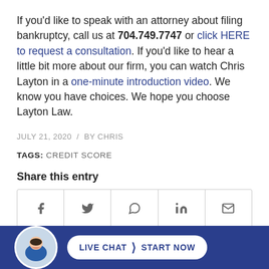If you'd like to speak with an attorney about filing bankruptcy, call us at 704.749.7747 or click HERE to request a consultation. If you'd like to hear a little bit more about our firm, you can watch Chris Layton in a one-minute introduction video. We know you have choices. We hope you choose Layton Law.
JULY 21, 2020 / BY CHRIS
TAGS: CREDIT SCORE
Share this entry
[Figure (other): Social share icons bar with Facebook, Twitter, WhatsApp, LinkedIn, and Email icons]
[Figure (other): Live Chat Start Now button with attorney avatar at bottom of page on dark blue background]